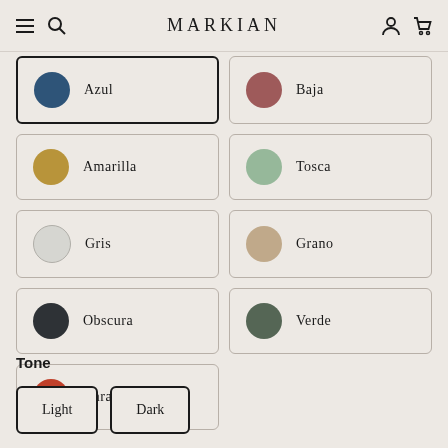MARKIAN
Azul
Baja
Amarilla
Tosca
Gris
Grano
Obscura
Verde
Naranja
Tone
Light
Dark